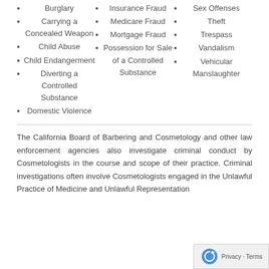Burglary
Carrying a Concealed Weapon
Child Abuse
Child Endangerment
Diverting a Controlled Substance
Domestic Violence
Insurance Fraud
Medicare Fraud
Mortgage Fraud
Possession for Sale of a Controlled Substance
Sex Offenses
Theft
Trespass
Vandalism
Vehicular Manslaughter
The California Board of Barbering and Cosmetology and other law enforcement agencies also investigate criminal conduct by Cosmetologists in the course and scope of their practice. Criminal investigations often involve Cosmetologists engaged in the Unlawful Practice of Medicine and Unlawful Representation